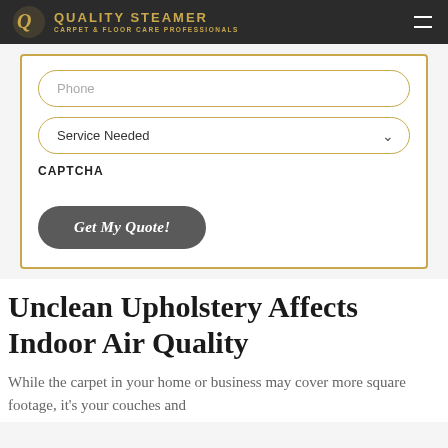Quality Steamer - Carpet & Floor Care Professionals
[Figure (screenshot): Form card with Phone input field, Service Needed dropdown, CAPTCHA label, and Get My Quote! button, bordered with gold outline]
Unclean Upholstery Affects Indoor Air Quality
While the carpet in your home or business may cover more square footage, it's your couches and